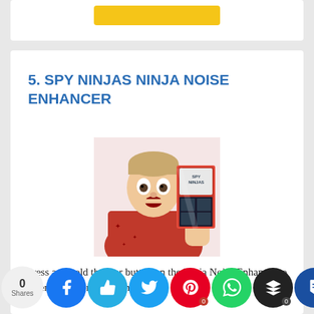[Figure (other): Partial top card with yellow button visible at top of page]
5. SPY NINJAS NINJA NOISE ENHANCER
[Figure (photo): Person in red shirt with surprised expression holding Spy Ninjas Ninja Noise Enhancer product packaging]
Press and hold the rear button on the Ninja Noise Enhancer to listen in on conversations.
0 Shares — Social sharing buttons: Facebook, Like, Twitter, Pinterest (0), WhatsApp, Buffer (0), Flipboard